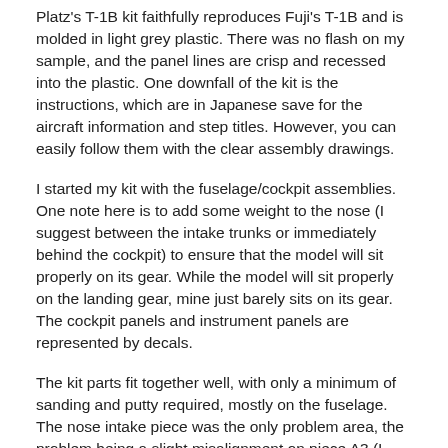Platz's T-1B kit faithfully reproduces Fuji's T-1B and is molded in light grey plastic. There was no flash on my sample, and the panel lines are crisp and recessed into the plastic. One downfall of the kit is the instructions, which are in Japanese save for the aircraft information and step titles. However, you can easily follow them with the clear assembly drawings.
I started my kit with the fuselage/cockpit assemblies. One note here is to add some weight to the nose (I suggest between the intake trunks or immediately behind the cockpit) to ensure that the model will sit properly on its gear. While the model will sit properly on the landing gear, mine just barely sits on its gear. The cockpit panels and instrument panels are represented by decals.
The kit parts fit together well, with only a minimum of sanding and putty required, mostly on the fuselage. The nose intake piece was the only problem area, the problem being a slight misalignment on piece A3 (I may have inadvertently created this) that required some slight sanding to fix.
A plus for this kit is that the pitot probe on the right wing is replaced by a turned metal probe. I left my sample's pitot probe off until all painting and decaling was complete.
Pay particular attention when you assemble the drop tanks in Step